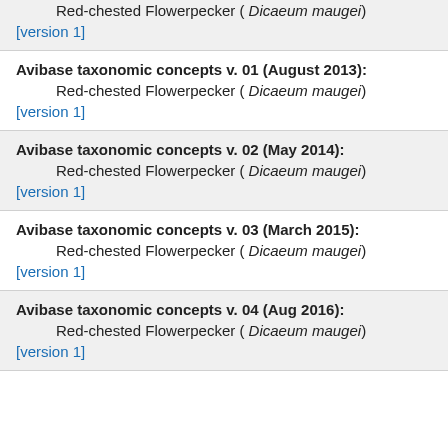Red-chested Flowerpecker ( Dicaeum maugei)
[version 1]
Avibase taxonomic concepts v. 01 (August 2013):
Red-chested Flowerpecker ( Dicaeum maugei)
[version 1]
Avibase taxonomic concepts v. 02 (May 2014):
Red-chested Flowerpecker ( Dicaeum maugei)
[version 1]
Avibase taxonomic concepts v. 03 (March 2015):
Red-chested Flowerpecker ( Dicaeum maugei)
[version 1]
Avibase taxonomic concepts v. 04 (Aug 2016):
Red-chested Flowerpecker ( Dicaeum maugei)
[version 1]